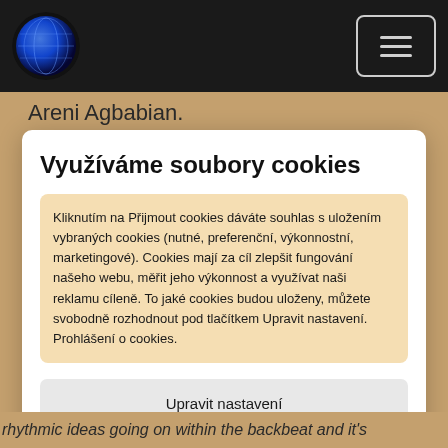[Figure (logo): Circular logo with blue/purple globe-like design on dark background]
Areni Agbabian.
Využíváme soubory cookies
Kliknutím na Přijmout cookies dáváte souhlas s uložením vybraných cookies (nutné, preferenční, výkonnostní, marketingové). Cookies mají za cíl zlepšit fungování našeho webu, měřit jeho výkonnost a využívat naši reklamu cíleně. To jaké cookies budou uloženy, můžete svobodně rozhodnout pod tlačítkem Upravit nastavení. Prohlášení o cookies.
Upravit nastavení
Přijmout cookies
rhythmic ideas going on within the backbeat and it's